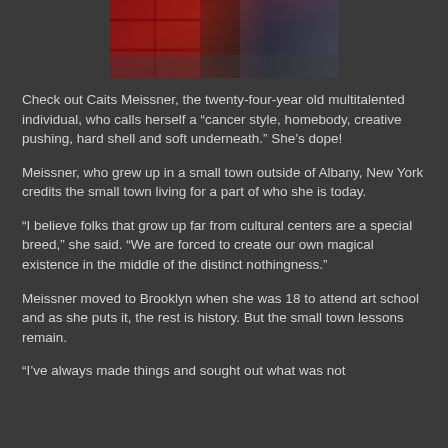[Figure (photo): Partial photo of a person wearing a red/dark patterned jacket, cropped at top of page]
Check out Caits Meissner, the twenty-four-year old multitalented individual, who calls herself a “cancer style, homebody, creative pushing, hard shell and soft underneath.” She’s dope!
Meissner, who grew up in a small town outside of Albany, New York credits the small town living for a part of who she is today.
“I believe folks that grow up far from cultural centers are a special breed,” she said. “We are forced to create our own magical existence in the middle of the distinct nothingness.”
Meissner moved to Brooklyn when she was 18 to attend art school and as she puts it, the rest is history. But the small town lessons remain.
“I’ve always made things and sought out what was not